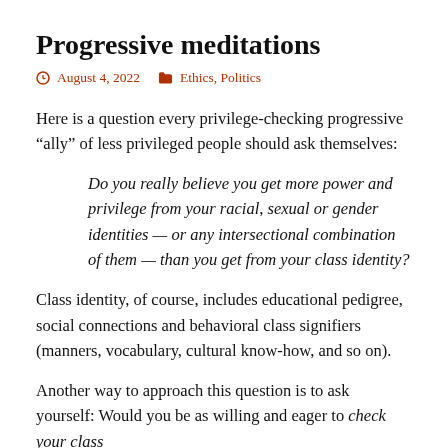Progressive meditations
August 4, 2022    Ethics, Politics
Here is a question every privilege-checking progressive “ally” of less privileged people should ask themselves:
Do you really believe you get more power and privilege from your racial, sexual or gender identities — or any intersectional combination of them — than you get from your class identity?
Class identity, of course, includes educational pedigree, social connections and behavioral class signifiers (manners, vocabulary, cultural know-how, and so on).
Another way to approach this question is to ask yourself: Would you be as willing and eager to check your class